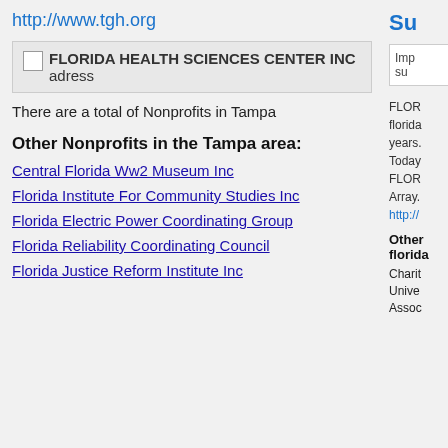http://www.tgh.org
[Figure (other): Broken image icon followed by text: FLORIDA HEALTH SCIENCES CENTER INC adress]
There are a total of Nonprofits in Tampa
Other Nonprofits in the Tampa area:
Central Florida Ww2 Museum Inc
Florida Institute For Community Studies Inc
Florida Electric Power Coordinating Group
Florida Reliability Coordinating Council
Florida Justice Reform Institute Inc
Su
Imp su
FLOR florida years. Today FLOR Array. http://
Other florida
Charit
Unive
Assoc